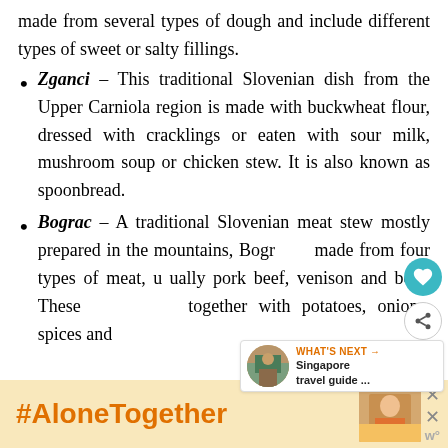made from several types of dough and include different types of sweet or salty fillings.
Zganci – This traditional Slovenian dish from the Upper Carniola region is made with buckwheat flour, dressed with cracklings or eaten with sour milk, mushroom soup or chicken stew. It is also known as spoonbread.
Bograc – A traditional Slovenian meat stew mostly prepared in the mountains, Bograc is made from four types of meat, usually pork, beef, venison and boar. These are cooked together with potatoes, onions, spices and
[Figure (screenshot): UI overlay: teal heart button and share button on right side, 'WHAT'S NEXT' box with Singapore travel guide image]
[Figure (screenshot): Ad banner at bottom: yellow/orange background with #AloneTogether hashtag in orange, photo of person eating, close buttons and logo]